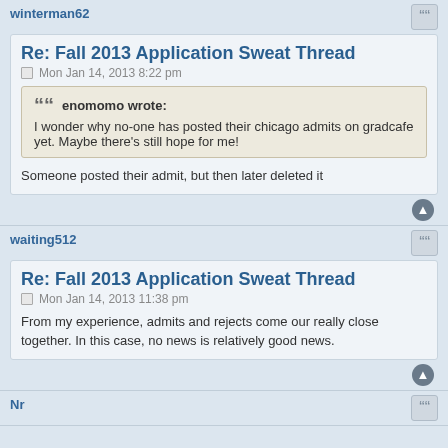winterman62
Re: Fall 2013 Application Sweat Thread
Mon Jan 14, 2013 8:22 pm
enomomo wrote: I wonder why no-one has posted their chicago admits on gradcafe yet. Maybe there's still hope for me!
Someone posted their admit, but then later deleted it
waiting512
Re: Fall 2013 Application Sweat Thread
Mon Jan 14, 2013 11:38 pm
From my experience, admits and rejects come our really close together. In this case, no news is relatively good news.
Nr